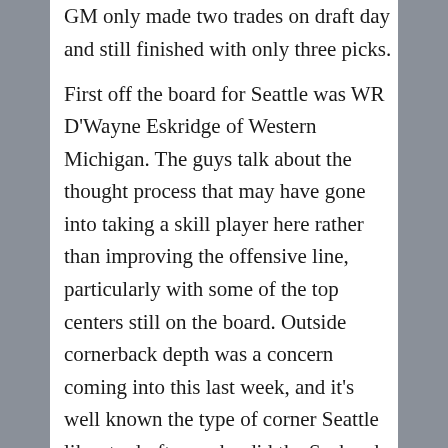GM only made two trades on draft day and still finished with only three picks. First off the board for Seattle was WR D'Wayne Eskridge of Western Michigan. The guys talk about the thought process that may have gone into taking a skill player here rather than improving the offensive line, particularly with some of the top centers still on the board. Outside cornerback depth was a concern coming into this last week, and it's well known the type of corner Seattle likes to draft, so why did the Seahawks take Oklahoma cornerback Tre Brown? Pete Carroll may be adapting to what we're seeing in the NFC West and in the NFL. In the sixth round, the Seahawks traded up for